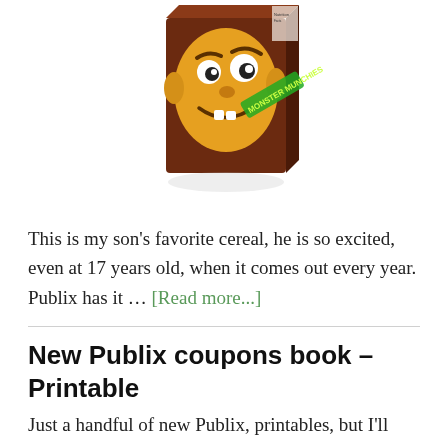[Figure (illustration): A cartoon cereal box with a wild-looking caricature face on the front, brown box with yellow/orange character illustration and green text.]
This is my son's favorite cereal, he is so excited, even at 17 years old, when it comes out every year. Publix has it … [Read more...]
New Publix coupons book – Printable
Just a handful of new Publix, printables, but I'll take them! Click here to print these Publix …